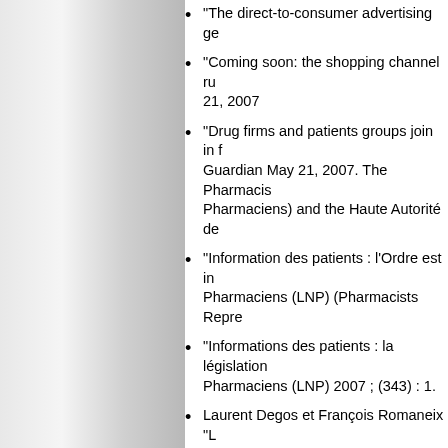“The direct-to-consumer advertising ge…
“Coming soon: the shopping channel ru… 21, 2007
“Drug firms and patients groups join in f… Guardian May 21, 2007. The Pharmacis… Pharmaciens) and the Haute Autorité de…
“Information des patients : l’Ordre est in… Pharmaciens (LNP) (Pharmacists Repre…
“Informations des patients : la législation… Pharmaciens (LNP) 2007 ; (343) : 1.
Laurent Degos et François Romaneix “L… : 1 page.
References:
1- Pharmaceutical Forum “Second progress re… http://ec.europa.eu/enterprise: 17 pages.
2- Joint Position of Medicines in Europe Forum… International Europe “Health Information - a cle… March 2007: 4 pages. Websites www.prescrire…
3- “Patient-information in Europe: many conce… consultation organised by the “patient informat… www.prescrire.org/cahiers/dossierEuropeMedl…
4- ESIP and AIM “Joint Position Statement on … Options”. Website ec.europa.eu/enterprise: 1 p…
5- Joint declaration by HAI Europe, the ISDB, … “Relevant Information for Empowered Citizen…